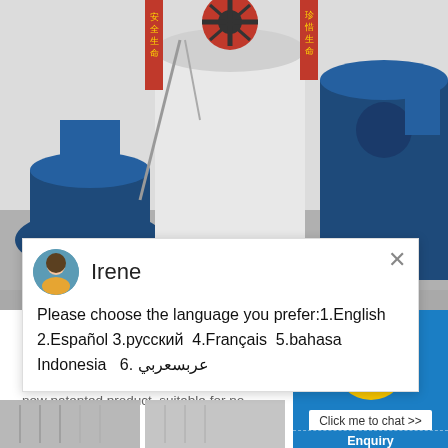[Figure (photo): Industrial grinding/milling machines in a factory setting — large white cylindrical machine in center, blue cylindrical machines on sides, red Chinese safety banners visible]
[Figure (screenshot): Chat popup overlay showing avatar of support agent 'Irene' with language selection message: Please choose the language you prefer:1.English 2.Español 3.русский 4.Français 5.bahasa Indonesia 6. عربسعربي]
YGM SERIES SUSPENSION
YGM High pressure suspension mill, the new patented product, suitable for no
[Figure (screenshot): Blue right panel with smiley face chat widget showing badge '1' and 'Click me to chat >>' button, plus Enquiry section and cywaitml@gmail.com email]
[Figure (photo): Bottom row of industrial factory floor photos]